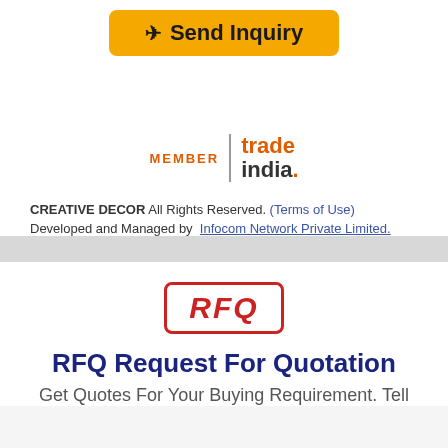[Figure (other): Send Inquiry button with yellow/orange background and arrow icon]
[Figure (logo): TradeIndia Member logo with MEMBER text on left and trade india. branding on right separated by vertical bar]
CREATIVE DECOR All Rights Reserved. (Terms of Use)
Developed and Managed by  Infocom Network Private Limited.
[Figure (other): RFQ stamp graphic — red bordered box with italic RFQ text]
RFQ Request For Quotation
Get Quotes For Your Buying Requirement. Tell